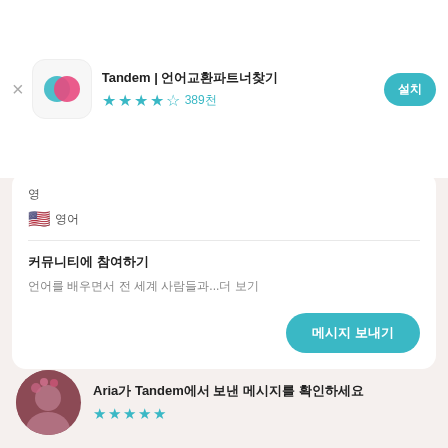Tandem | 언어교환 파트너 찾기 ★★★★☆ 389천
영어
미국 영어
커뮤니티에 참여하기
언어를 배우면서 전 세계 사람들과 연결되세요...더 보기
메시지 보내기
Aria가 Tandem에서 보낸 메시지를 확인하세요